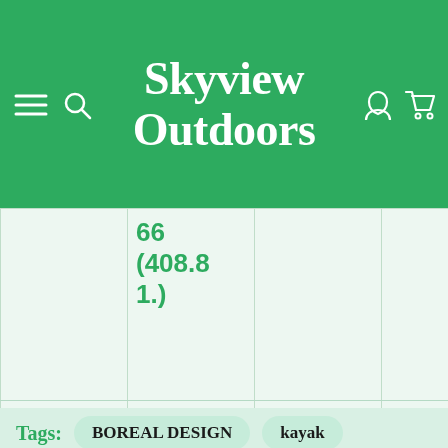Skyview Outdoors
|  | (408.81.) |  |  |
Tags: BOREAL DESIGN  kayak  kayaks for sale in abbotsford  kayaks for sale in fraser valley